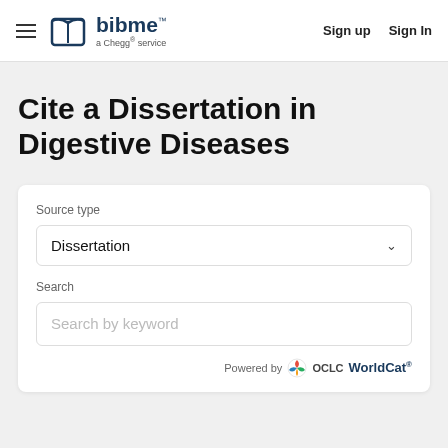BibMe a Chegg service | Sign up | Sign In
Cite a Dissertation in Digestive Diseases
Source type
Dissertation
Search
Search by keyword
Powered by OCLC WorldCat